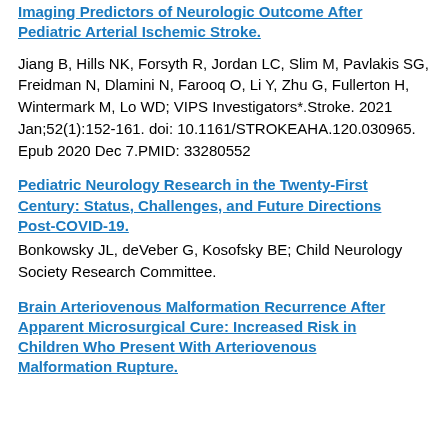Imaging Predictors of Neurologic Outcome After Pediatric Arterial Ischemic Stroke.
Jiang B, Hills NK, Forsyth R, Jordan LC, Slim M, Pavlakis SG, Freidman N, Dlamini N, Farooq O, Li Y, Zhu G, Fullerton H, Wintermark M, Lo WD; VIPS Investigators*.Stroke. 2021 Jan;52(1):152-161. doi: 10.1161/STROKEAHA.120.030965. Epub 2020 Dec 7.PMID: 33280552
Pediatric Neurology Research in the Twenty-First Century: Status, Challenges, and Future Directions Post-COVID-19.
Bonkowsky JL, deVeber G, Kosofsky BE; Child Neurology Society Research Committee.
Brain Arteriovenous Malformation Recurrence After Apparent Microsurgical Cure: Increased Risk in Children Who Present With Arteriovenous Malformation Rupture.